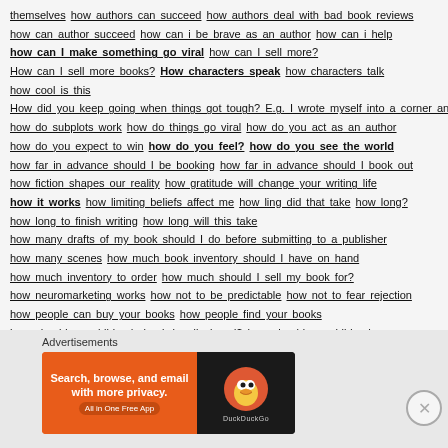themselves how authors can succeed how authors deal with bad book reviews how can author succeed how can i be brave as an author how can i help how can I make something go viral how can I sell more? How can I sell more books? How characters speak how characters talk how cool is this How did you keep going when things got tough? E.g. I wrote myself into a corner and had to restart a chapter. I wrote complete garbage how do subplots work how do things go viral how do you act as an author how do you expect to win how do you feel? how do you see the world how far in advance should I be booking how far in advance should I book out how fiction shapes our reality how gratitude will change your writing life how it works how limiting beliefs affect me how ling did that take how long? how long to finish writing how long will this take how many drafts of my book should I do before submitting to a publisher how many scenes how much book inventory should I have on hand how much inventory to order how much should I sell my book for? how neuromarketing works how not to be predictable how not to fear rejection how people can buy your books how people find your books how should my children's book be displayed? how should my children's book be formatted how animation the how should it be and...
[Figure (screenshot): DuckDuckGo advertisement banner: orange left side with text 'Search, browse, and email with more privacy. All in One Free App' and dark right side with DuckDuckGo duck logo]